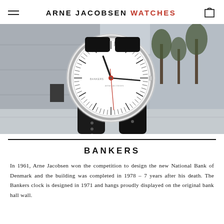ARNE JACOBSEN WATCHES
[Figure (photo): A Bankers watch with white dial, silver case, black leather strap and red center seconds hand, displayed against an urban background with concrete architecture and bare trees.]
BANKERS
In 1961, Arne Jacobsen won the competition to design the new National Bank of Denmark and the building was completed in 1978 – 7 years after his death. The Bankers clock is designed in 1971 and hangs proudly displayed on the original bank hall wall.